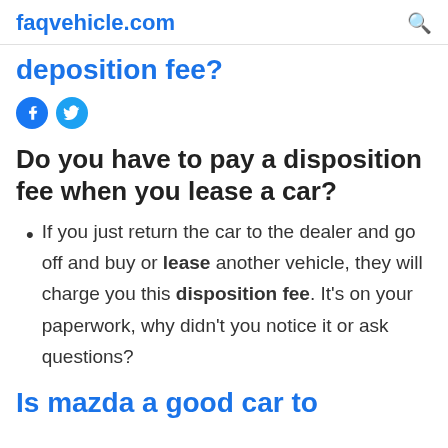faqvehicle.com
deposition fee?
[Figure (other): Facebook and Twitter social sharing icons]
Do you have to pay a disposition fee when you lease a car?
If you just return the car to the dealer and go off and buy or lease another vehicle, they will charge you this disposition fee. It's on your paperwork, why didn't you notice it or ask questions?
Is mazda a good car to